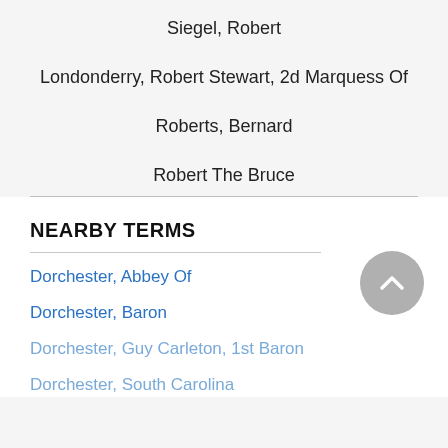Siegel, Robert
Londonderry, Robert Stewart, 2d Marquess Of
Roberts, Bernard
Robert The Bruce
NEARBY TERMS
Dorchester, Abbey Of
Dorchester, Baron
Dorchester, Guy Carleton, 1st Baron
Dorchester, South Carolina